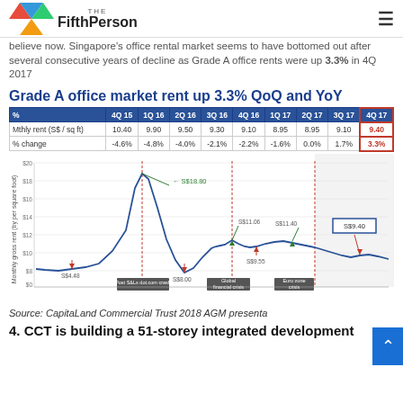The Fifth Person
believe now. Singapore's office rental market seems to have bottomed out after several consecutive years of decline as Grade A office rents were up 3.3% in 4Q 2017
Grade A office market rent up 3.3% QoQ and YoY
| % | 4Q 15 | 1Q 16 | 2Q 16 | 3Q 16 | 4Q 16 | 1Q 17 | 2Q 17 | 3Q 17 | 4Q 17 |
| --- | --- | --- | --- | --- | --- | --- | --- | --- | --- |
| Mthly rent (S$ / sq ft) | 10.40 | 9.90 | 9.50 | 9.30 | 9.10 | 8.95 | 8.95 | 9.10 | 9.40 |
| % change | -4.6% | -4.8% | -4.0% | -2.1% | -2.2% | -1.6% | 0.0% | 1.7% | 3.3% |
[Figure (line-chart): Line chart showing Singapore Grade A office monthly gross rent over time, with annotations for S$18.80 peak, S$4.48 trough, S$8.00, S$11.06, S$9.55, S$11.40, and S$9.40 highlighted. Three red dashed vertical lines mark Post-S&Ls dot.com crash, Global financial crisis, and Euro zone crisis periods.]
Source: CapitaLand Commercial Trust 2018 AGM presenta
4. CCT is building a 51-storey integrated development